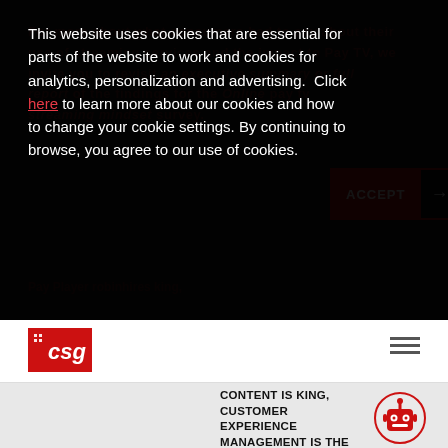This website uses cookies that are essential for parts of the website to work and cookies for analytics, personalization and advertising. Click here to learn more about our cookies and how to change your cookie settings. By continuing to browse, you agree to our use of cookies.
ACCEPT →
[Figure (logo): CSG logo — red box with white grid icon and 'csg' text in italic white]
CONTENT IS KING, CUSTOMER EXPERIENCE MANAGEMENT IS THE POWER BEHIND THE THRONE
[Figure (illustration): Red robot icon in a circle — cartoon robot face with antenna]